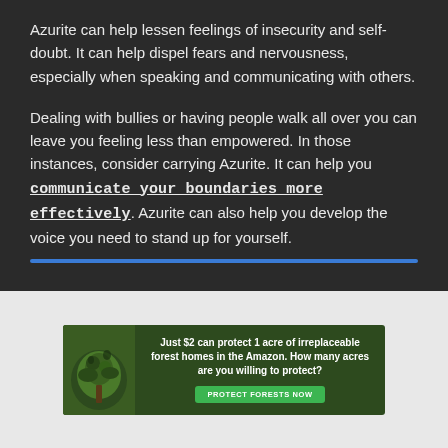Azurite can help lessen feelings of insecurity and self-doubt. It can help dispel fears and nervousness, especially when speaking and communicating with others.
Dealing with bullies or having people walk all over you can leave you feeling less than empowered. In those instances, consider carrying Azurite. It can help you communicate your boundaries more effectively. Azurite can also help you develop the voice you need to stand up for yourself.
[Figure (other): Advertisement banner: Just $2 can protect 1 acre of irreplaceable forest homes in the Amazon. How many acres are you willing to protect? PROTECT FORESTS NOW button.]